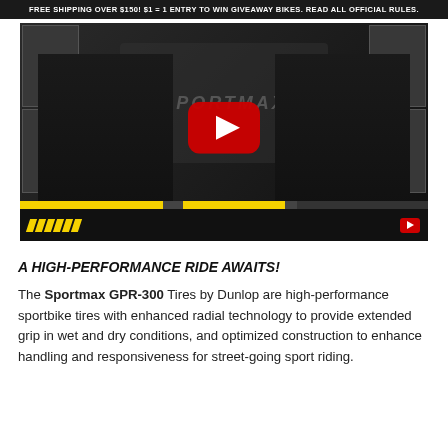FREE SHIPPING OVER $150! $1 = 1 ENTRY TO WIN GIVEAWAY BIKES. READ ALL OFFICIAL RULES.
[Figure (screenshot): YouTube video thumbnail showing two men in black Dunlop polo shirts standing in front of a motorcycle tire display backdrop with a YouTube play button overlay in the center. Yellow diagonal stripe accents visible at the bottom of the video frame.]
A HIGH-PERFORMANCE RIDE AWAITS!
The Sportmax GPR-300 Tires by Dunlop are high-performance sportbike tires with enhanced radial technology to provide extended grip in wet and dry conditions, and optimized construction to enhance handling and responsiveness for street-going sport riding.